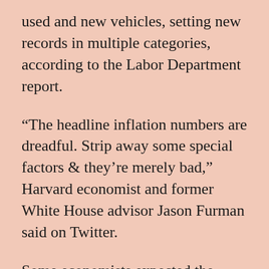used and new vehicles, setting new records in multiple categories, according to the Labor Department report.
“The headline inflation numbers are dreadful. Strip away some special factors & they’re merely bad,” Harvard economist and former White House advisor Jason Furman said on Twitter.
Some economists expected the easing of pandemic restrictions to cause a shift of US consumer demand towards services and away from goods, which they said would ease inflation pressures, but prices for services increased as well.